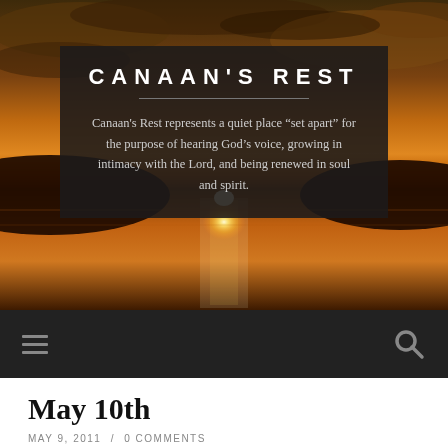[Figure (photo): Sunset landscape photo with orange sky and water reflection, used as background of the hero banner]
CANAAN'S REST
Canaan's Rest represents a quiet place “set apart” for the purpose of hearing God’s voice, growing in intimacy with the Lord, and being renewed in soul and spirit.
hamburger menu icon and search icon navigation bar
May 10th
MAY 9, 2011 / 0 COMMENTS
Devotions based on Albert Haase’s book, This Sacred Moment